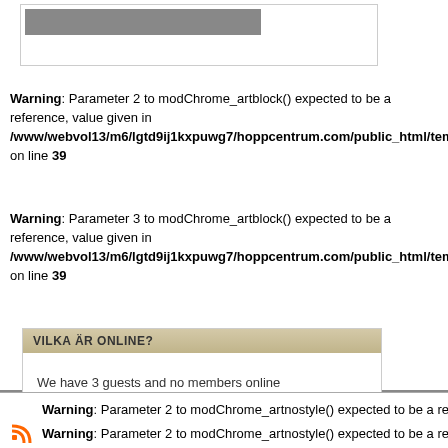[Figure (screenshot): Gray bar image at the top inside a bordered box]
Warning: Parameter 2 to modChrome_artblock() expected to be a reference, value given in /www/webvol13/m6/lgtd9ij1kxpuwg7/hoppcentrum.com/public_html/templates/h on line 39
Warning: Parameter 3 to modChrome_artblock() expected to be a reference, value given in /www/webvol13/m6/lgtd9ij1kxpuwg7/hoppcentrum.com/public_html/templates/h on line 39
VILKA ÄR ONLINE?
We have 3 guests and no members online
Warning: Parameter 2 to modChrome_artnostyle() expected to be a reference, value given in /wv
Warning: Parameter 2 to modChrome_artnostyle() expected to be a reference, value given in /wv